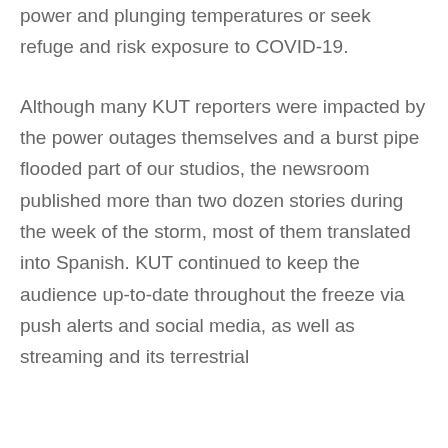power and plunging temperatures or seek refuge and risk exposure to COVID-19.
Although many KUT reporters were impacted by the power outages themselves and a burst pipe flooded part of our studios, the newsroom published more than two dozen stories during the week of the storm, most of them translated into Spanish. KUT continued to keep the audience up-to-date throughout the freeze via push alerts and social media, as well as streaming and its terrestrial